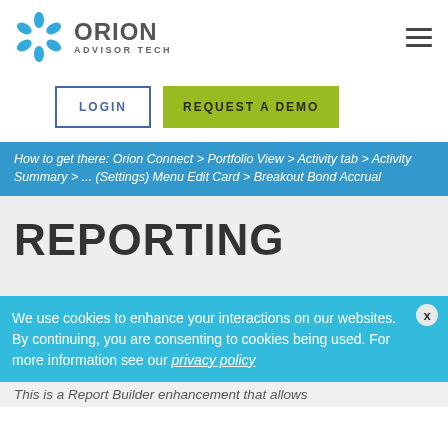[Figure (logo): Orion Advisor Tech logo with blue snowflake/asterisk icon and gray text]
LOGIN
REQUEST A DEMO
How to get there: Orion Connect > Portfolio View > Activity tab > Activity Summary > ... (Settings) Menu Edit Card > Breakout Bond Accrual
REPORTING
We use cookies to enhance your interactions on our websites. By continuing, you are consenting to cookies being used. For more information see our privacy policy
This is a Report Builder enhancement that allows